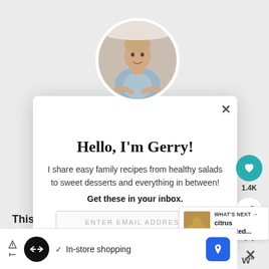[Figure (screenshot): A website popup modal showing a chef's profile photo in a circle at the top, with the heading 'Hello, I'm Gerry!' and body text about sharing family recipes. Includes an email subscribe field, side social buttons (heart with 1.4K, share), and a 'What's Next' preview box. At the bottom is a Google ad bar with 'In-store shopping'.]
Hello, I'm Gerry!
I share easy family recipes from healthy salads to sweet desserts and everything in between!
Get these in your inbox.
ENTER EMAIL ADDRESS
1.4K
WHAT'S NEXT → citrus marinated...
This i:
at
In-store shopping